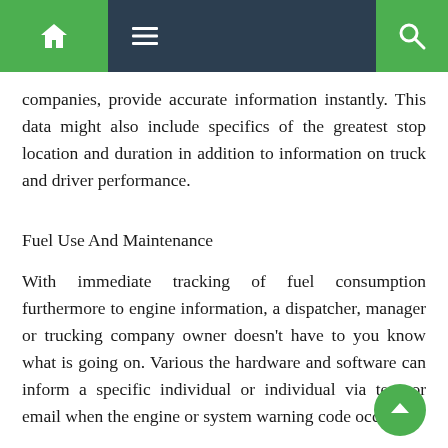Navigation bar with home, menu, and search icons
companies, provide accurate information instantly. This data might also include specifics of the greatest stop location and duration in addition to information on truck and driver performance.
Fuel Use And Maintenance
With immediate tracking of fuel consumption furthermore to engine information, a dispatcher, manager or trucking company owner doesn't have to you know what is going on. Various the hardware and software can inform a specific individual or individual via text or email when the engine or system warning code occurs.
Imagine how easy fleet maintenance will likely be when you are getting research that notifys you which of them trucks need servicing, the appropriate steps, and appears